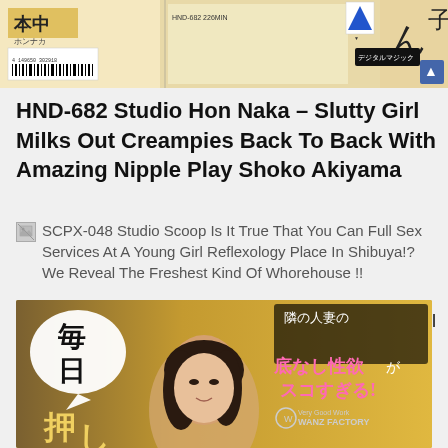[Figure (photo): Top banner image showing Japanese adult video product packaging with Japanese text, barcode, and product imagery on a light beige/yellow background]
HND-682 Studio Hon Naka – Slutty Girl Milks Out Creampies Back To Back With Amazing Nipple Play Shoko Akiyama
[Figure (screenshot): Link preview thumbnail icon (broken image icon) for SCPX-048 Studio Scoop article]
SCPX-048 Studio Scoop Is It True That You Can Full Sex Services At A Young Girl Reflexology Place In Shibuya!? We Reveal The Freshest Kind Of Whorehouse !!
SCPX-048 Studio Scoop Is It True That You Can Full Sex Services At A Young Girl Reflexology Place In Shibuya!? We Reveal The Freshest Kind Of Whorehouse !!
[Figure (photo): Bottom banner image of Japanese adult video cover featuring a woman with dark hair, Japanese text overlays reading 毎日, 押し, 隣の人妻の 底なし性欲が スコすぎる!, and WANZ FACTORY logo on golden/amber background]